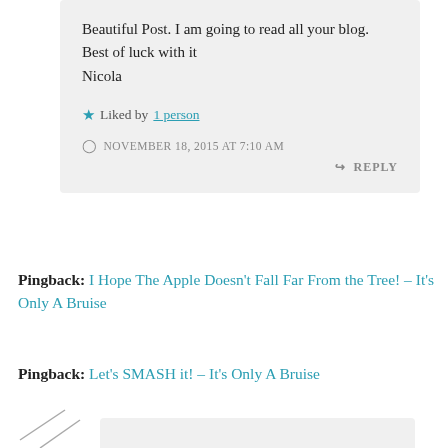Beautiful Post. I am going to read all your blog. Best of luck with it
Nicola
Liked by 1 person
NOVEMBER 18, 2015 AT 7:10 AM
REPLY
Pingback: I Hope The Apple Doesn't Fall Far From the Tree! – It's Only A Bruise
Pingback: Let's SMASH it! – It's Only A Bruise